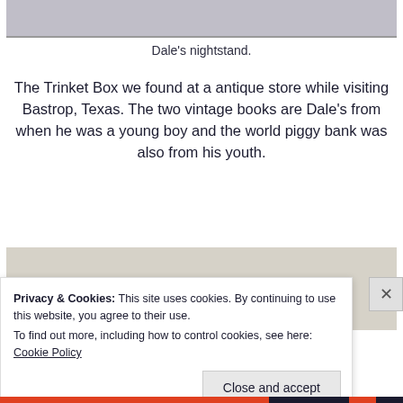[Figure (photo): Top portion of a photo showing Dale's nightstand]
Dale's nightstand.
The Trinket Box we found at a antique store while visiting Bastrop, Texas. The two vintage books are Dale's from when he was a young boy and the world piggy bank was also from his youth.
[Figure (photo): Bottom photo, partially visible, showing a bedroom or nightstand scene]
Privacy & Cookies: This site uses cookies. By continuing to use this website, you agree to their use.
To find out more, including how to control cookies, see here: Cookie Policy
Close and accept